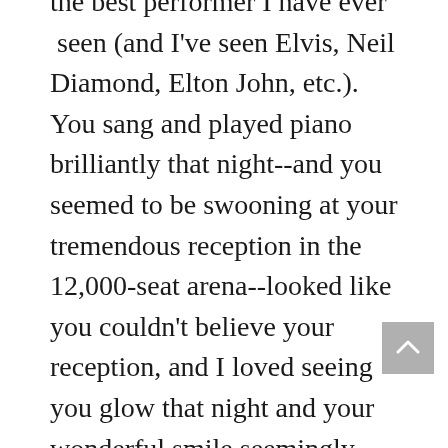the best performer I have ever  seen (and I've seen Elvis, Neil Diamond, Elton John, etc.).  You sang and played piano brilliantly that night--and you seemed to be swooning at your tremendous reception in the 12,000-seat arena--looked like you couldn't believe your reception, and I loved seeing you glow that night and your wonderful smile seemingly gasp with delight. Even on your encore with